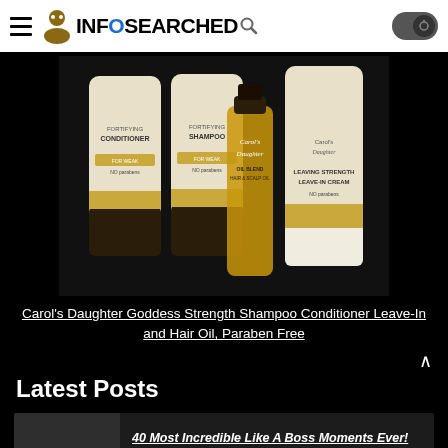INFOSEARCHED
[Figure (photo): Carol's Daughter Goddess Strength hair product set including Fortifying Conditioner, Fortifying Shampoo, Oil Blend Hair & Scalp Oil, and Leave-In Cream on a black background]
Carol’s Daughter Goddess Strength Shampoo Conditioner Leave-In and Hair Oil, Paraben Free
Latest Posts
40 Most Incredible Like A Boss Moments Ever!
Trending Now  0